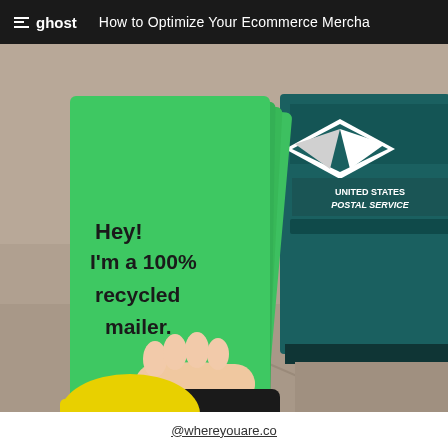≡ ghost   How to Optimize Your Ecommerce Mercha
[Figure (photo): A person in a yellow and black jacket holds several bright green poly mailer bags stamped with 'Hey! I'm a 100% recycled mailer.' in front of a teal United States Postal Service mailbox on a concrete sidewalk.]
@whereyouare.co